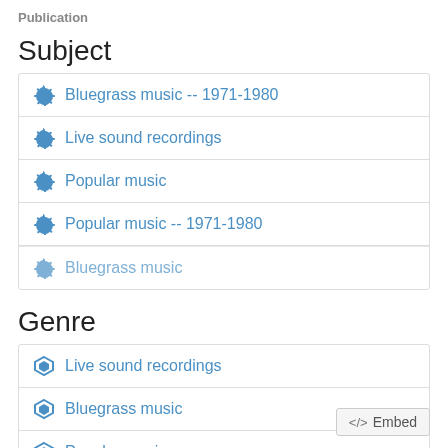Publication
Subject
Bluegrass music -- 1971-1980
Live sound recordings
Popular music
Popular music -- 1971-1980
Bluegrass music
Genre
Live sound recordings
Bluegrass music
Popular music